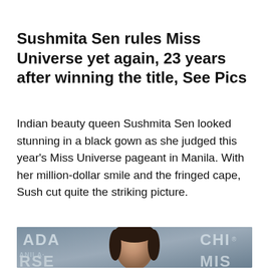Sushmita Sen rules Miss Universe yet again, 23 years after winning the title, See Pics
Indian beauty queen Sushmita Sen looked stunning in a black gown as she judged this year's Miss Universe pageant in Manila. With her million-dollar smile and the fringed cape, Sush cut quite the striking picture.
[Figure (photo): Photo of Sushmita Sen at the Miss Universe pageant backdrop showing ADA, MANILA, CHI, RSE, and MISS logos/text, with Sushmita Sen centered in the frame wearing a black outfit]